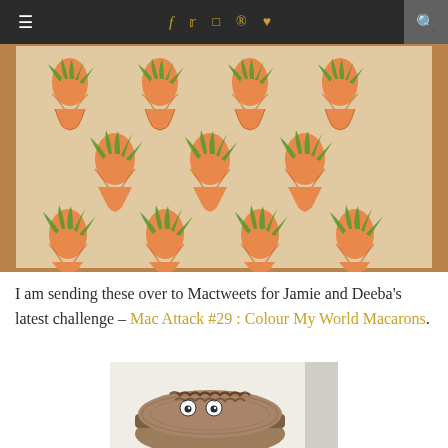Navigation bar with hamburger menu, social icons (f, twitter, instagram, pinterest, heart), and search
[Figure (photo): Overhead photo of multiple orange carrot-shaped macarons with green leaf piping arranged in rows on parchment paper on a wooden surface]
I am sending these over to Mactweets for Jamie and Deeba’s latest challenge – Mac Attack #29 : Colour My World Macarons.
[Figure (photo): Partially visible photo of a chocolate macaron decorated with googly candy eyes to look like a monster face]